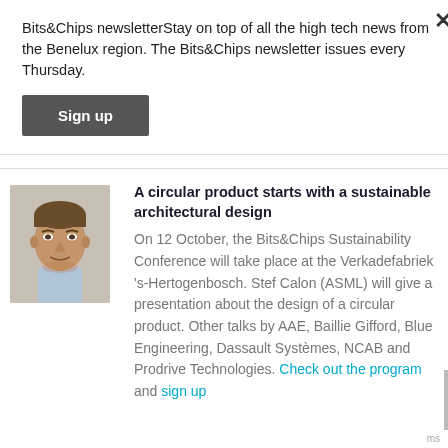Bits&Chips newsletterStay on top of all the high tech news from the Benelux region. The Bits&Chips newsletter issues every Thursday.
Sign up
A circular product starts with a sustainable architectural design
On 12 October, the Bits&Chips Sustainability Conference will take place at the Verkadefabriek 's-Hertogenbosch. Stef Calon (ASML) will give a presentation about the design of a circular product. Other talks by AAE, Baillie Gifford, Blue Engineering, Dassault Systèmes, NCAB and Prodrive Technologies. Check out the program and sign up
[Figure (photo): Headshot photo of a man (Stef Calon) wearing a light blue shirt, casual professional appearance, cropped portrait.]